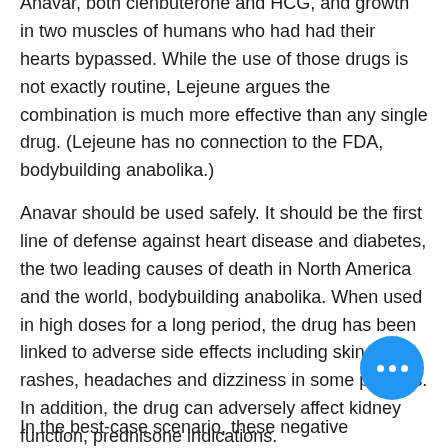Anavar, both clenbuterone and HCG, and growth in two muscles of humans who had had their hearts bypassed. While the use of those drugs is not exactly routine, Lejeune argues the combination is much more effective than any single drug. (Lejeune has no connection to the FDA, bodybuilding anabolika.)
Anavar should be used safely. It should be the first line of defense against heart disease and diabetes, the two leading causes of death in North America and the world, bodybuilding anabolika. When used in high doses for a long period, the drug has been linked to adverse side effects including skin rashes, headaches and dizziness in some patients. In addition, the drug can adversely affect kidney function, prednisone indications.
In the best-case scenario, these negative